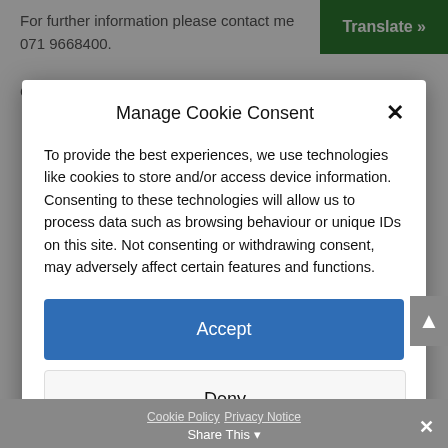For further information please contact me 071 9668400.
Covering letter with CV maybe addressed to The Board
Manage Cookie Consent
To provide the best experiences, we use technologies like cookies to store and/or access device information. Consenting to these technologies will allow us to process data such as browsing behaviour or unique IDs on this site. Not consenting or withdrawing consent, may adversely affect certain features and functions.
Accept
Deny
View preferences
Cookie Policy  Privacy Notice  Share This